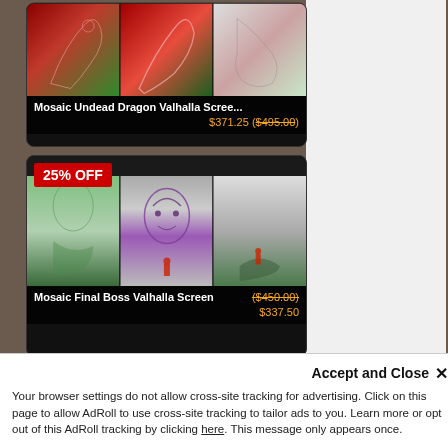[Figure (photo): Product card showing Mosaic Undead Dragon Valhalla Screen artwork with price $371.25 ($495.00 original)]
Mosaic Undead Dragon Valhalla Scree...
$371.25 ($495.00)
[Figure (photo): Product card showing Mosaic Final Boss Valhalla Screen with 25% OFF badge, price $337.50 (original $450.00)]
25% OFF
Mosaic Final Boss Valhalla Screen
($450.00)
$337.50
[Figure (photo): Product card with 25% OFF badge showing scroll-style mosaic artwork, partially visible]
25% OFF
Accept and Close ×
Your browser settings do not allow cross-site tracking for advertising. Click on this page to allow AdRoll to use cross-site tracking to tailor ads to you. Learn more or opt out of this AdRoll tracking by clicking here. This message only appears once.